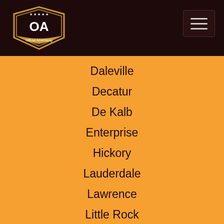Official Advertising
Daleville
Decatur
De Kalb
Enterprise
Hickory
Lauderdale
Lawrence
Little Rock
Louin